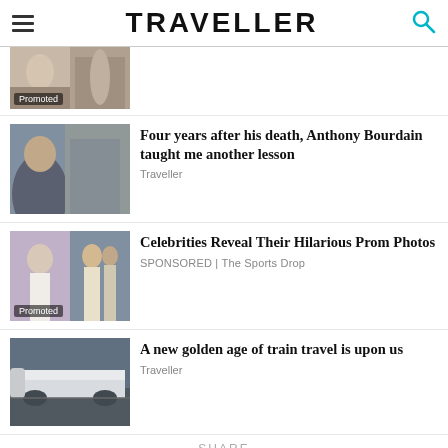TRAVELLER
[Figure (photo): Partial article thumbnail showing vintage black and white photo with Promoted badge]
[Figure (photo): Anthony Bourdain photo - man with arms crossed against textured wall]
Four years after his death, Anthony Bourdain taught me another lesson
Traveller
[Figure (photo): Celebrity prom photos collage - woman in white dress and couple in formal wear, with Promoted badge]
Celebrities Reveal Their Hilarious Prom Photos
SPONSORED | The Sports Drop
[Figure (photo): Modern white high-speed bullet train at station platform]
A new golden age of train travel is upon us
Traveller
SHARE